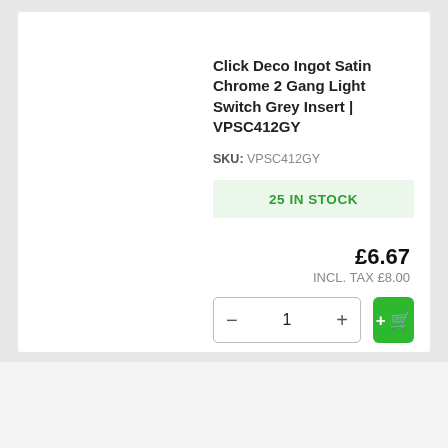Click Deco Ingot Satin Chrome 2 Gang Light Switch Grey Insert | VPSC412GY
SKU: VPSC412GY
25 IN STOCK
£6.67
INCL. TAX £8.00
This website uses cookies to ensure you get the best experience on our website. Learn more
Click Deco Ingot Satin Chrome 2 Gang Light Switch White Insert VPSC412WH
Allow cookies
feefo Reviews